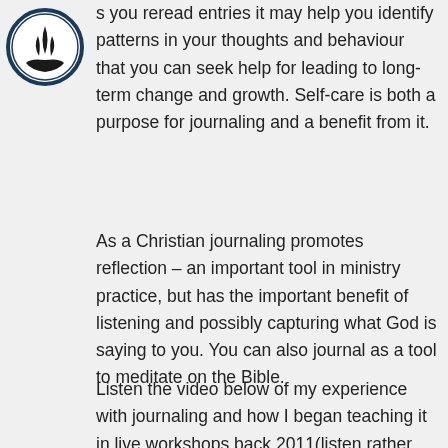[Figure (logo): Circular logo with a stylized flame and hands symbol inside a dark blue circle border]
s you reread entries it may help you identify patterns in your thoughts and behaviour that you can seek help for leading to long-term change and growth. Self-care is both a purpose for journaling and a benefit from it.
As a Christian journaling promotes reflection – an important tool in ministry practice, but has the important benefit of listening and possibly capturing what God is saying to you. You can also journal as a tool to meditate on the Bible.
Listen the video below of my experience with journaling and how I began teaching it in live workshops back 2011(listen rather than